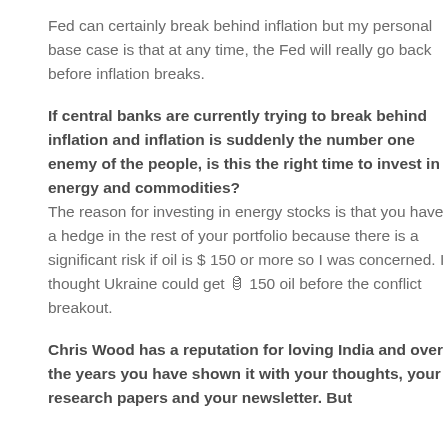Fed can certainly break behind inflation but my personal base case is that at any time, the Fed will really go back before inflation breaks.
If central banks are currently trying to break behind inflation and inflation is suddenly the number one enemy of the people, is this the right time to invest in energy and commodities?
The reason for investing in energy stocks is that you have a hedge in the rest of your portfolio because there is a significant risk if oil is $ 150 or more so I was concerned. I thought Ukraine could get 🛢️ 150 oil before the conflict breakout.
Chris Wood has a reputation for loving India and over the years you have shown it with your thoughts, your research papers and your newsletter. But